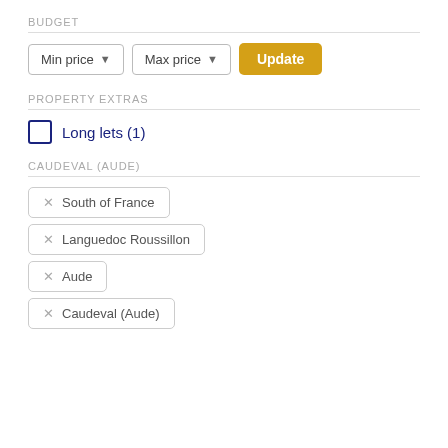BUDGET
[Figure (screenshot): Filter controls with Min price dropdown, Max price dropdown, and Update button]
PROPERTY EXTRAS
Long lets (1)
CAUDEVAL (AUDE)
× South of France
× Languedoc Roussillon
× Aude
× Caudeval (Aude)